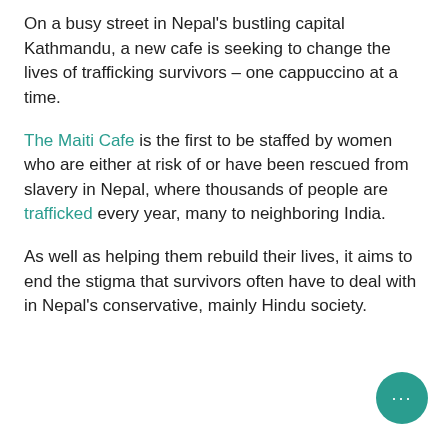On a busy street in Nepal's bustling capital Kathmandu, a new cafe is seeking to change the lives of trafficking survivors – one cappuccino at a time.
The Maiti Cafe is the first to be staffed by women who are either at risk of or have been rescued from slavery in Nepal, where thousands of people are trafficked every year, many to neighboring India.
As well as helping them rebuild their lives, it aims to end the stigma that survivors often have to deal with in Nepal's conservative, mainly Hindu society.